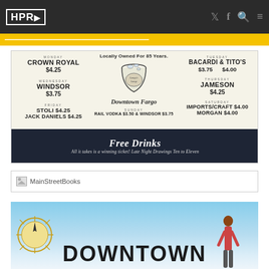HPR — navigation bar with logo, Twitter, Facebook, Search, Menu icons
[Figure (advertisement): Locally Owned For 85 Years. Downtown Fargo bar ad. Monday: Crown Royal $4.25. Tuesday: Bacardi & Tito's $3.75 / $4.00. Wednesday: Windsor $3.75. Thursday: Jameson $4.25. Friday: Stoli $4.25, Jack Daniels $4.25. Saturday: Imports/Craft $4.00, Morgan $4.00. Sunday: Rail Vodka $3.50 & Windsor $3.75. Free Drinks — All it takes is a winning ticket! Late Night Drawings Ten to Eleven.]
[Figure (advertisement): MainStreetBooks broken image placeholder advertisement]
[Figure (advertisement): Downtown partial advertisement banner with sky background, sun compass and person silhouette, showing text DOWNTOWN]